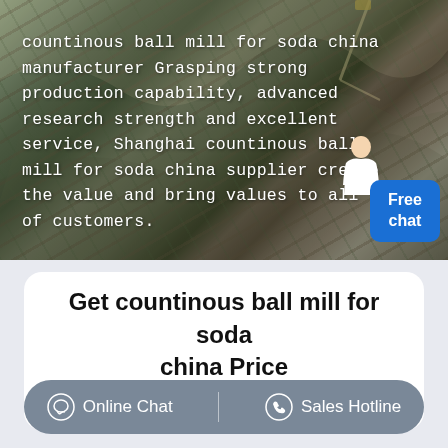[Figure (photo): Aerial view of a rocky quarry/mining site with dark grey stone. White text overlay describes countinous ball mill for soda china manufacturer. A 'Free chat' blue button appears bottom right, and a customer service person illustration.]
Get countinous ball mill for soda china Price supplier@pfpew.com
Online Chat   Sales Hotline